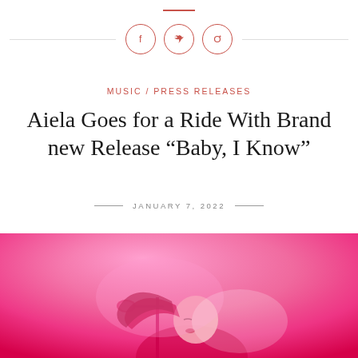MUSIC / PRESS RELEASES
Aiela Goes for a Ride With Brand new Release “Baby, I Know”
JANUARY 7, 2022
[Figure (photo): Singer performing at a microphone, lit with pink and magenta stage lighting, head bowed with red lips visible]